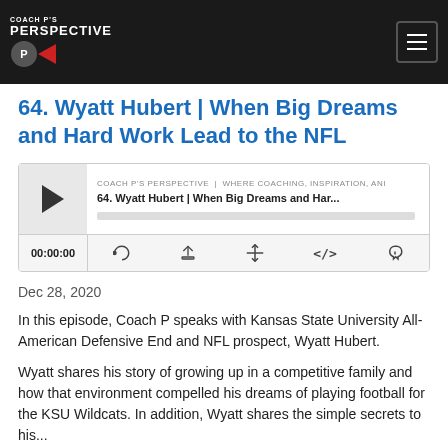COACH P'S PERSPECTIVE
64. Wyatt Hubert | When Big Dreams and Hard Work Lead to the NFL
[Figure (screenshot): Embedded podcast audio player showing episode 64 with play button, episode title, progress bar, timestamp 00:00:00, and controls for RSS, download, embed, and share]
Dec 28, 2020
In this episode, Coach P speaks with Kansas State University All-American Defensive End and NFL prospect, Wyatt Hubert.
Wyatt shares his story of growing up in a competitive family and how that environment compelled his dreams of playing football for the KSU Wildcats. In addition, Wyatt shares the simple secrets to his...
Read More